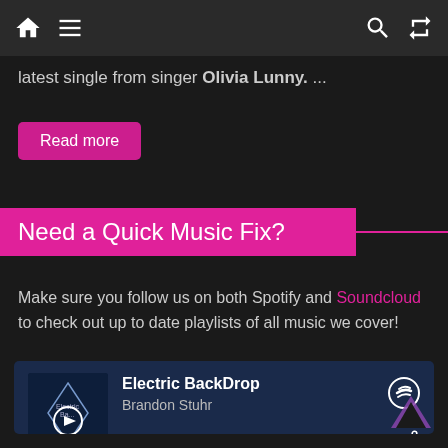Navigation bar with home, menu, search, and shuffle icons
latest single from singer Olivia Lunny. ...
Read more
Need a Quick Music Fix?
Make sure you follow us on both Spotify and Soundcloud to check out up to date playlists of all music we cover!
[Figure (screenshot): Spotify embedded player showing 'Electric BackDrop' by Brandon Stuhr with playback controls and album art]